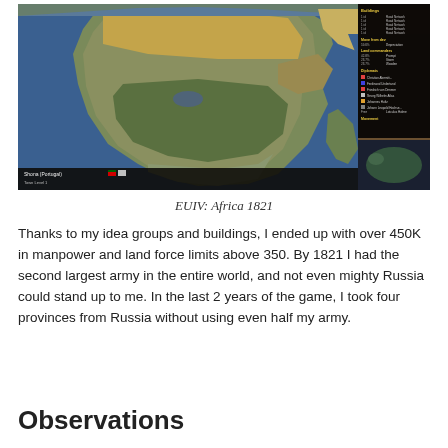[Figure (screenshot): Europa Universalis IV game screenshot showing Africa map view in 1821, with HUD panel on right showing buildings, diplomats, and minimap in lower right]
EUIV: Africa 1821
Thanks to my idea groups and buildings, I ended up with over 450K in manpower and land force limits above 350. By 1821 I had the second largest army in the entire world, and not even mighty Russia could stand up to me. In the last 2 years of the game, I took four provinces from Russia without using even half my army.
Observations